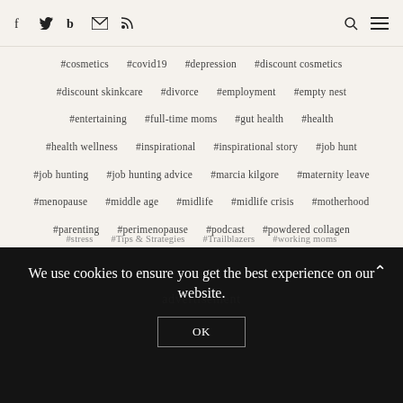Navigation bar with social icons (Facebook, Twitter, Bloglovin, Email, RSS) and search/menu icons
#cosmetics  #covid19  #depression  #discount cosmetics
#discount skinkcare  #divorce  #employment  #empty nest
#entertaining  #full-time moms  #gut health  #health
#health wellness  #inspirational  #inspirational story  #job hunt
#job hunting  #job hunting advice  #marcia kilgore  #maternity leave
#menopause  #middle age  #midlife  #midlife crisis  #motherhood
#parenting  #perimenopause  #podcast  #powdered collagen
#professional tips  #reinvent  #reinvention  #Relationships
#stress  #Tips & Strategies  #Trailblazers  #working moms
advertisement
We use cookies to ensure you get the best experience on our website.
OK